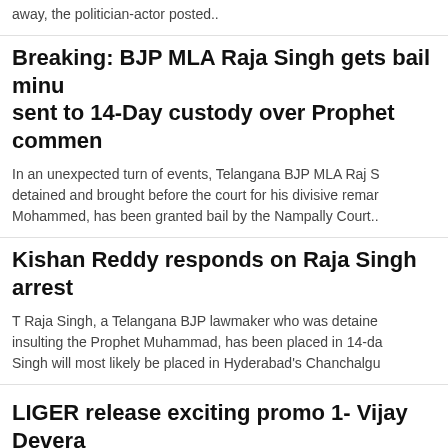away, the politician-actor posted..
Breaking: BJP MLA Raja Singh gets bail minu sent to 14-Day custody over Prophet commen
In an unexpected turn of events, Telangana BJP MLA Raj S detained and brought before the court for his divisive remar Mohammed, has been granted bail by the Nampally Court..
Kishan Reddy responds on Raja Singh arrest
T Raja Singh, a Telangana BJP lawmaker who was detaine insulting the Prophet Muhammad, has been placed in 14-da Singh will most likely be placed in Hyderabad's Chanchalgu
LIGER release exciting promo 1- Vijay Devera